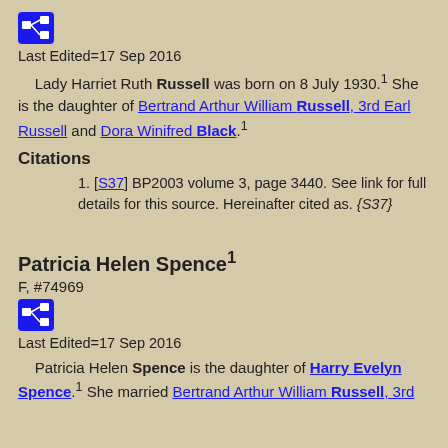[Figure (other): Blue icon button with genealogy/network symbol]
Last Edited=17 Sep 2016
Lady Harriet Ruth Russell was born on 8 July 1930.1 She is the daughter of Bertrand Arthur William Russell, 3rd Earl Russell and Dora Winifred Black.1
Citations
[S37] BP2003 volume 3, page 3440. See link for full details for this source. Hereinafter cited as. {S37}
Patricia Helen Spence1
F, #74969
[Figure (other): Blue icon button with genealogy/network symbol]
Last Edited=17 Sep 2016
Patricia Helen Spence is the daughter of Harry Evelyn Spence.1 She married Bertrand Arthur William Russell, 3rd